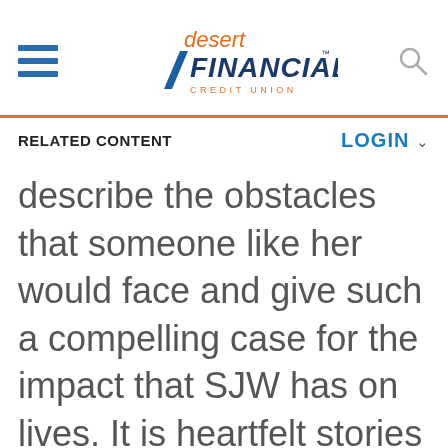[Figure (logo): Desert Financial Credit Union logo with hamburger menu icon and search icon]
RELATED CONTENT
LOGIN
describe the obstacles that someone like her would face and give such a compelling case for the impact that SJW has on lives. It is heartfelt stories like this one that